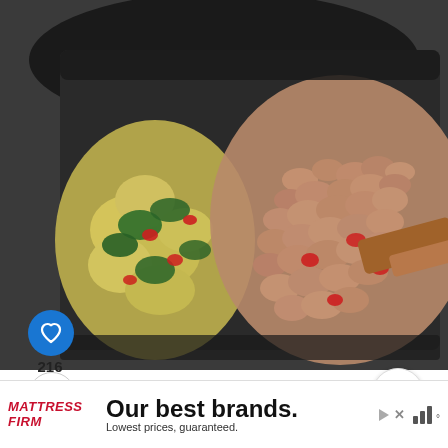[Figure (photo): A skillet/frying pan viewed from above containing cooked crumbled ground meat (appears to be sausage or ground turkey), mixed with cauliflower, red peppers, and leafy greens (spinach), with a wooden spatula visible on the right side. The pan has a dark nonstick surface.]
216
[Figure (other): Blue circular heart/like button icon]
[Figure (other): White circular share button icon]
[Figure (other): White circular up/scroll button icon]
[Figure (other): Blue circular search/magnifying glass button]
WHAT'S NEXT → Easy Healthy Italian Grou...
[Figure (photo): Small circular thumbnail of a bowl of food (appears to be ground meat dish)]
[Figure (other): Advertisement for Mattress Firm: 'Our best brands. Lowest prices, guaranteed.' with Mattress Firm logo in red italic text]